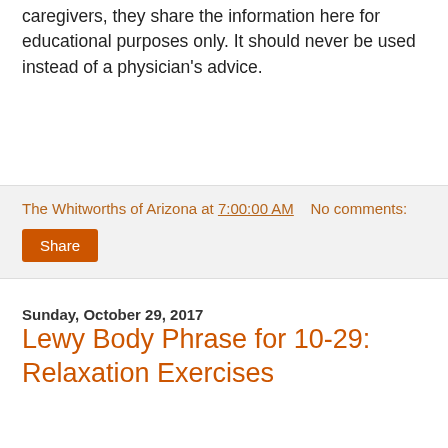caregivers, they share the information here for educational purposes only. It should never be used instead of a physician's advice.
The Whitworths of Arizona at 7:00:00 AM   No comments:
Share
Sunday, October 29, 2017
Lewy Body Phrase for 10-29: Relaxation Exercises
Relaxing the body relaxes the mind, lowers stress and decreases behavioral and psychological symptoms of dementia (BPSD).
Relaxation sessions can:
last a few minutes, as with deep breathing, or